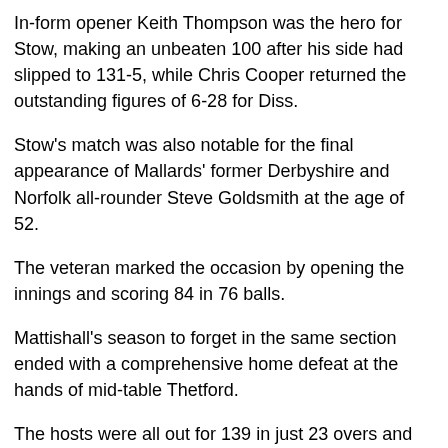In-form opener Keith Thompson was the hero for Stow, making an unbeaten 100 after his side had slipped to 131-5, while Chris Cooper returned the outstanding figures of 6-28 for Diss.
Stow's match was also notable for the final appearance of Mallards' former Derbyshire and Norfolk all-rounder Steve Goldsmith at the age of 52.
The veteran marked the occasion by opening the innings and scoring 84 in 76 balls.
Mattishall's season to forget in the same section ended with a comprehensive home defeat at the hands of mid-table Thetford.
The hosts were all out for 139 in just 23 overs and Thetford knocked off the runs in three overs less for the loss of just two wickets. Mattishall ended up finishing 66 points adrift at the foot of the table.